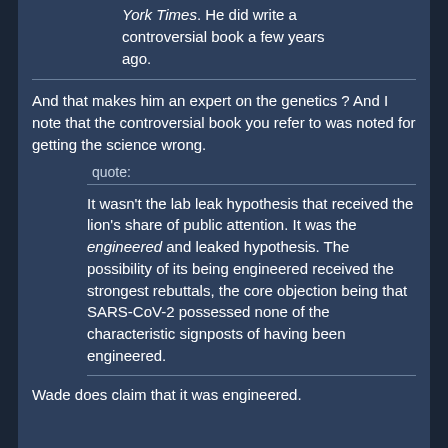York Times. He did write a controversial book a few years ago.
And that makes him an expert on the genetics ? And I note that the controversial book you refer to was noted for getting the science wrong.
quote:
It wasn't the lab leak hypothesis that received the lion's share of public attention. It was the engineered and leaked hypothesis. The possibility of its being engineered received the strongest rebuttals, the core objection being that SARS-CoV-2 possessed none of the characteristic signposts of having been engineered.
Wade does claim that it was engineered.